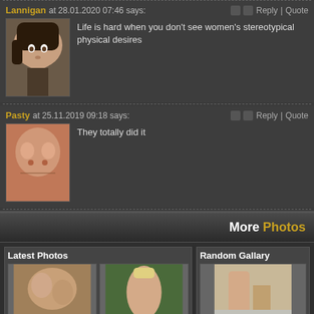Lannigan at 28.01.2020 07:46 says:
[Figure (photo): Profile photo of user Lannigan - young woman with dark hair]
Life is hard when you don't see women's stereotypical physical desires
Pasty at 25.11.2019 09:18 says:
[Figure (photo): Profile photo of user Pasty]
They totally did it
More Photos
Latest Photos
Random Gallary
[Figure (photo): Latest photo 1]
[Figure (photo): Latest photo 2]
[Figure (photo): Random gallery photo]